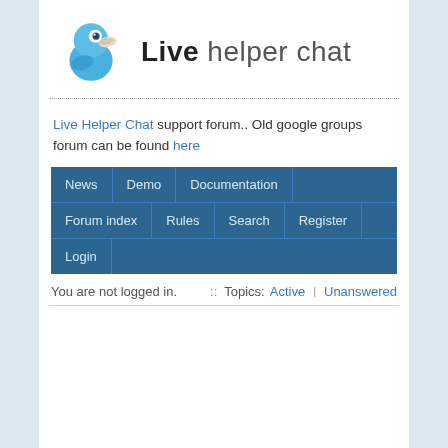[Figure (logo): Live Helper Chat logo with blue parrot bird icon and text 'Live helper chat']
Live Helper Chat support forum.. Old google groups forum can be found here
[Figure (infographic): Navigation bar with items: News, Demo, Documentation (row 1); Forum index, Rules, Search, Register (row 2); Login (row 3)]
You are not logged in.   :: Topics: Active | Unanswered